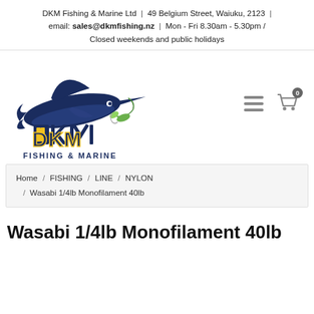DKM Fishing & Marine Ltd  |  49 Belgium Street, Waiuku, 2123  |  email: sales@dkmfishing.nz  |  Mon - Fri 8.30am - 5.30pm / Closed weekends and public holidays
[Figure (logo): DKM Fishing & Marine Ltd logo featuring a marlin fish above stylized DKM lettering with 'FISHING & MARINE' text below, in navy blue and gold colors]
Home / FISHING / LINE / NYLON / Wasabi 1/4lb Monofilament 40lb
Wasabi 1/4lb Monofilament 40lb